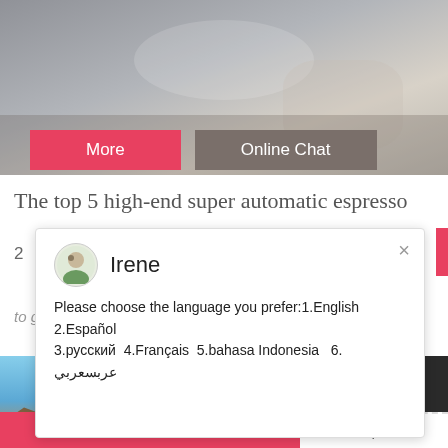[Figure (photo): Mining/quarry scene with rocks and machinery in grayscale tones]
[Figure (screenshot): Two buttons: 'More' (red/pink) and 'Online Chat' (gray-brown)]
The top 5 high-end super automatic espresso
2
to go along with an espresso, latte, or cappuc...
[Figure (screenshot): Chat popup with avatar of 'Irene' and language selection message: Please choose the language you prefer:1.English 2.Español 3.русский 4.Français 5.bahasa Indonesia 6. عربسعربي]
[Figure (photo): Blue sky with construction/mining machinery silhouettes at bottom]
[Figure (photo): Customer service agent photo (woman with headset) with blue circle showing number 1]
Need questions & suggestion?
Chat Now
Chat Online
Enquire